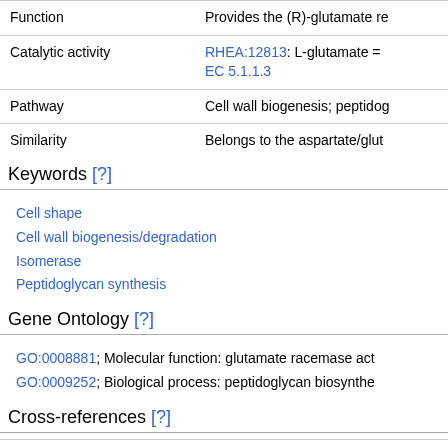| Field | Value |
| --- | --- |
| Function | Provides the (R)-glutamate re |
| Catalytic activity | RHEA:12813: L-glutamate = EC 5.1.1.3 |
| Pathway | Cell wall biogenesis; peptidoglycan... |
| Similarity | Belongs to the aspartate/glut... |
Keywords [?]
Cell shape
Cell wall biogenesis/degradation
Isomerase
Peptidoglycan synthesis
Gene Ontology [?]
GO:0008881; Molecular function: glutamate racemase act
GO:0009252; Biological process: peptidoglycan biosynthe
Cross-references [?]
| Database | Entry |
| --- | --- |
| Pfam | PF01177; Asp_Glu_race; 1; |
| TIGRFAM | TIGR00967; ... |